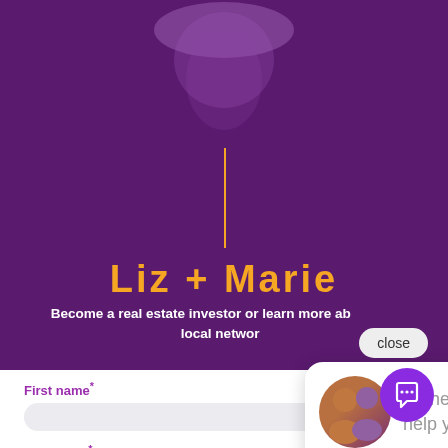[Figure (screenshot): Purple background with ceiling light and orange vertical decorative line]
Liz + Marie
Become a real estate investor or learn more about our local network
[Figure (screenshot): Chat popup with close button and two agents photo saying: Hi there, how can we help you? Text us here.]
First name*
Last name*